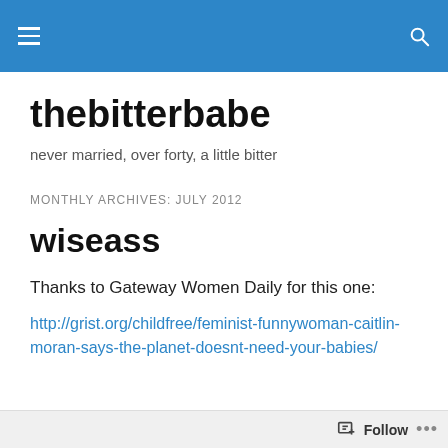thebitterbabe — site navigation header
thebitterbabe
never married, over forty, a little bitter
MONTHLY ARCHIVES: JULY 2012
wiseass
Thanks to Gateway Women Daily for this one:
http://grist.org/childfree/feminist-funnywoman-caitlin-moran-says-the-planet-doesnt-need-your-babies/
Follow